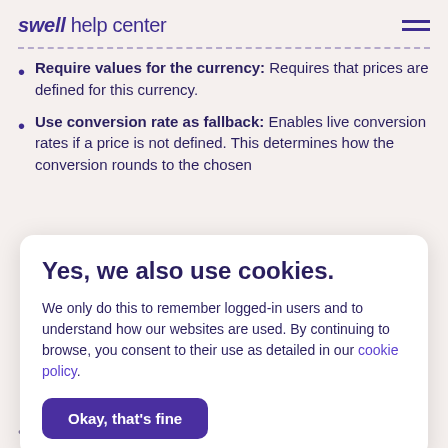swell help center
Require values for the currency: Requires that prices are defined for this currency.
Use conversion rate as fallback: Enables live conversion rates if a price is not defined. This determines how the conversion rounds to the chosen
Yes, we also use cookies.
We only do this to remember logged-in users and to understand how our websites are used. By continuing to browse, you consent to their use as detailed in our cookie policy.
Okay, that's fine
Be aware that changing your store's base